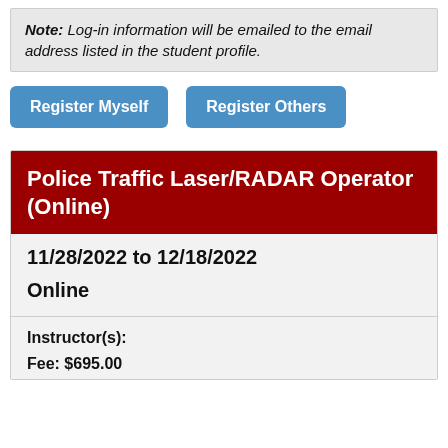Note: Log-in information will be emailed to the email address listed in the student profile.
Register Myself
Register Others
Police Traffic Laser/RADAR Operator (Online)
11/28/2022 to 12/18/2022
Online
Instructor(s):
Fee: $695.00